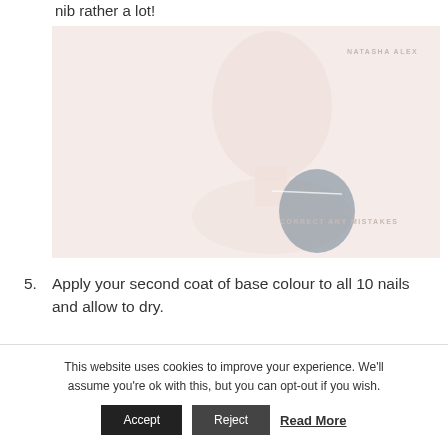nib rather a lot!
[Figure (photo): A faded/light photo of a person with text overlay reading 'NATASHA ALEX' at top right and 'CORRECT ANY MISTAKES' at bottom right. The image has a very pale, washed-out appearance with pinkish-beige tones.]
5. Apply your second coat of base colour to all 10 nails and allow to dry.
This website uses cookies to improve your experience. We'll assume you're ok with this, but you can opt-out if you wish.